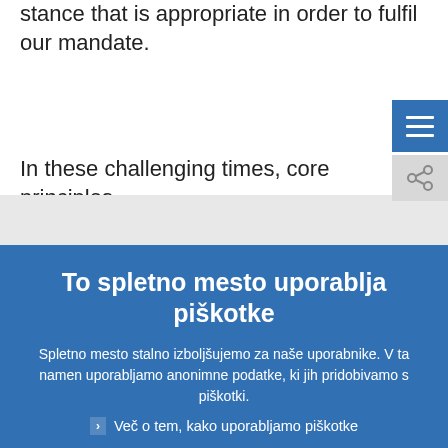stance that is appropriate in order to fulfil our mandate.
In these challenging times, core principles
To spletno mesto uporablja piškotke
Spletno mesto stalno izboljšujemo za naše uporabnike. V ta namen uporabljamo anonimne podatke, ki jih pridobivamo s piškotki.
Več o tem, kako uporabljamo piškotke
Razumem in se strinjam z uporabo piškotkov
Ne strinjam se z uporabo piškotkov